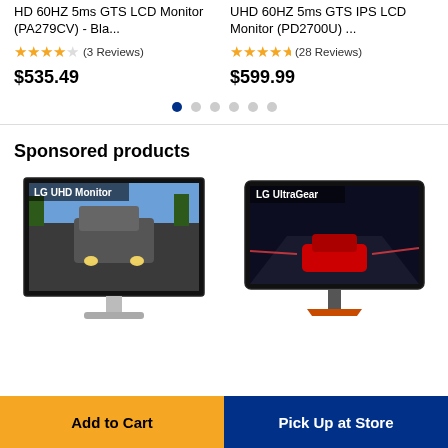HD 60HZ 5ms GTS LCD Monitor (PA279CV) - Bla...
★★★★☆ (3 Reviews)
$535.49
UHD 60HZ 5ms GTS IPS LCD Monitor (PD2700U) ...
★★★★½ (28 Reviews)
$599.99
Sponsored products
[Figure (photo): LG UHD Monitor displaying a car racing game scene]
[Figure (photo): LG UltraGear curved gaming monitor displaying a racing game with red car]